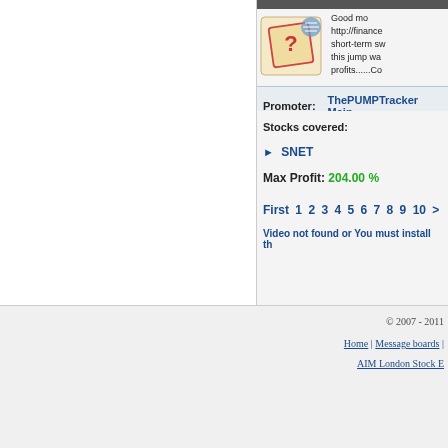[Figure (illustration): Question mark on a tag/label image with blue stamp]
Good mo http://finance short-term sw this jump wa profits......Co
Promoter:   ThePUMPTracker Main
Stocks covered:
▶ SNET
Max Profit: 204.00 %
First 1 2 3 4 5 6 7 8 9 10 >
Video not found or You must install th
© 2007 - 2011  Home | Message boards |  AIM London Stock E